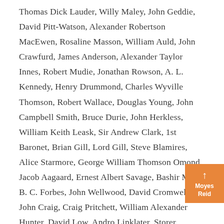Thomas Dick Lauder, Willy Maley, John Geddie, David Pitt-Watson, Alexander Robertson MacEwen, Rosaline Masson, William Auld, John Crawfurd, James Anderson, Alexander Taylor Innes, Robert Mudie, Jonathan Rowson, A. L. Kennedy, Henry Drummond, Charles Wyville Thomson, Robert Wallace, Douglas Young, John Campbell Smith, Bruce Durie, John Herkless, William Keith Leask, Sir Andrew Clark, 1st Baronet, Brian Gill, Lord Gill, Steve Blamires, Alice Starmore, George William Thomson Omond, Jacob Aagaard, Ernest Albert Savage, Bashir Maan, B. C. Forbes, John Wellwood, David Cromwell, John Craig, Craig Pritchett, William Alexander Hunter, David Low, Andro Linklater, Storer Clouston, William Bayne, John Edgar McFadyen, Tom Weir, John Cairns, John Morton Boyd, Colin McNab, William Morison, Margaret Black, Graham Bartram, William Gordon Stables, Robert Kalley, James R. Barr, Eve Blantyre Simpson, Thomas Banks
[Figure (other): Orange navigation box with upward arrow and text 'Moyes Reid']